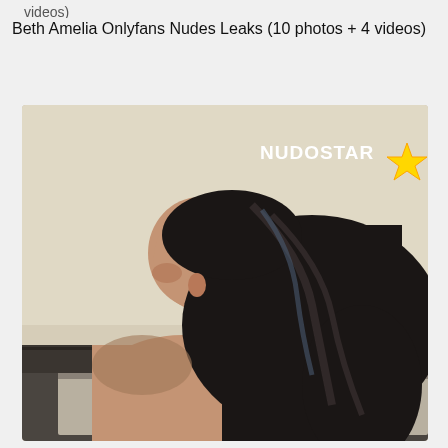videos)
Beth Amelia Onlyfans Nudes Leaks (10 photos + 4 videos)
[Figure (photo): Person with long black hair viewed from the side, head tilted back, seated, with a dark headboard visible behind them. The image has a NUDOSTAR watermark with a yellow star in the upper right.]